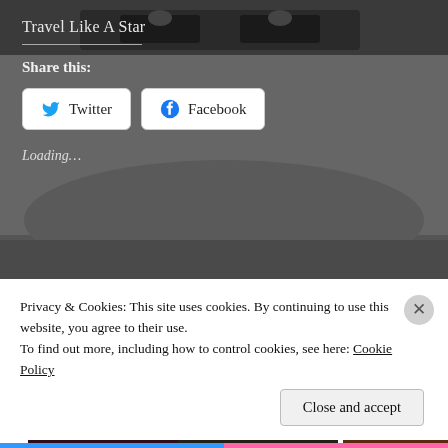Travel Like A Star
Share this:
[Figure (screenshot): Twitter share button with bird icon]
[Figure (screenshot): Facebook share button with F icon]
Loading...
[Figure (photo): Dracula movie poster with text 'the most evil DRACULA of all!']
[Figure (photo): Partial horror movie image on right side]
Privacy & Cookies: This site uses cookies. By continuing to use this website, you agree to their use.
To find out more, including how to control cookies, see here: Cookie Policy
Close and accept